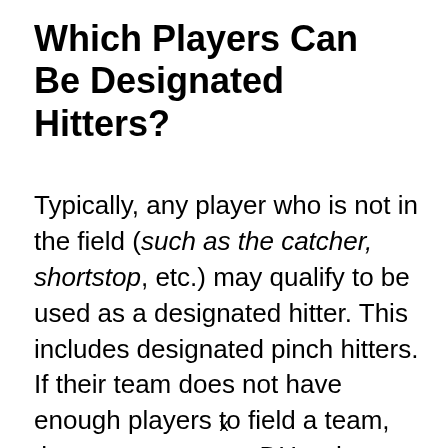Which Players Can Be Designated Hitters?
Typically, any player who is not in the field (such as the catcher, shortstop, etc.) may qualify to be used as a designated hitter. This includes designated pinch hitters. If their team does not have enough players to field a team, they may even use DHs who are not on the roster. Some baseball leagues simply allow any player to be used as a designated hitter
x